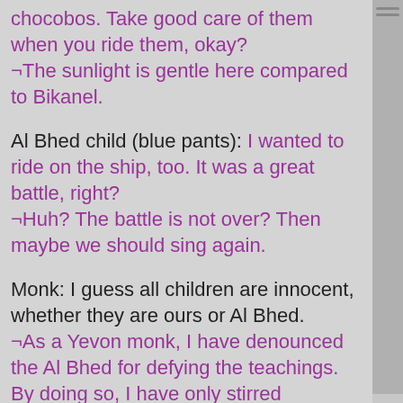chocobos. Take good care of them when you ride them, okay?
¬The sunlight is gentle here compared to Bikanel.
Al Bhed child (blue pants): I wanted to ride on the ship, too. It was a great battle, right?
¬Huh? The battle is not over? Then maybe we should sing again.
Monk: I guess all children are innocent, whether they are ours or Al Bhed.
¬As a Yevon monk, I have denounced the Al Bhed for defying the teachings. By doing so, I have only stirred senseless conflicts throughout Spira. I deeply regret my folly.
¬Henceforth, I will work to engender harmony between the Al Bhed and our people.
Mühen Highroad Travel Agency...